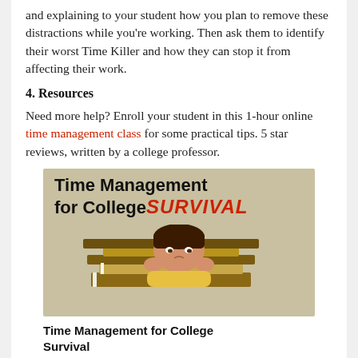and explaining to your student how you plan to remove these distractions while you're working. Then ask them to identify their worst Time Killer and how they can stop it from affecting their work.
4. Resources
Need more help? Enroll your student in this 1-hour online time management class for some practical tips. 5 star reviews, written by a college professor.
[Figure (illustration): Course card for 'Time Management for College SURVIVAL' showing bold title text with SURVIVAL in red italic, and a photo of a stressed student resting head on hands surrounded by stacked books]
Time Management for College Survival
Price: $9 | 1 Reviews (5 stars) | Students: 22